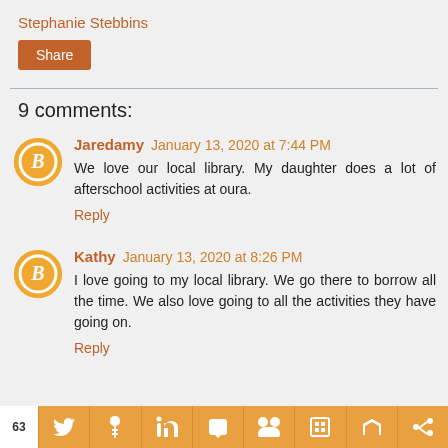Stephanie Stebbins
Share
9 comments:
Jaredamy  January 13, 2020 at 7:44 PM
We love our local library. My daughter does a lot of afterschool activities at oura.
Reply
Kathy  January 13, 2020 at 8:26 PM
I love going to my local library. We go there to borrow all the time. We also love going to all the activities they have going on.
Reply
63